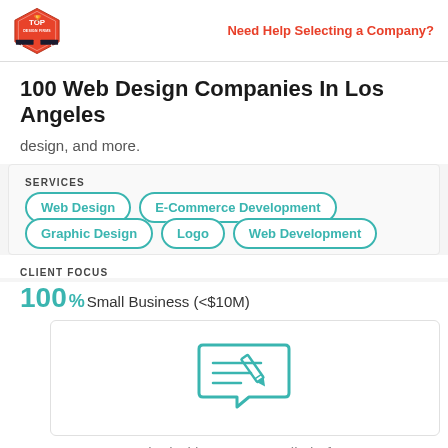Top Design Firms | Need Help Selecting a Company?
100 Web Design Companies In Los Angeles
design, and more.
SERVICES
Web Design
E-Commerce Development
Graphic Design
Logo
Web Development
CLIENT FOCUS
100% Small Business (<$10M)
[Figure (illustration): Chat/review icon with pencil and speech bubble containing lines]
Worked with Present Studio before?